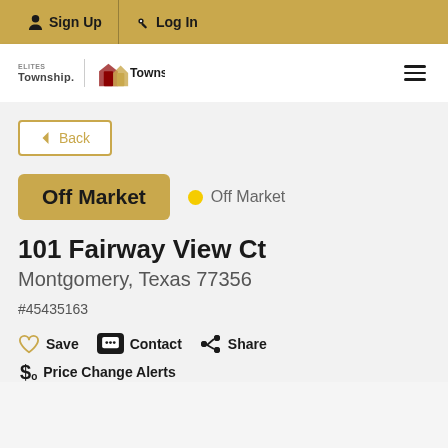Sign Up  Log In
[Figure (logo): ElitesTownship and Township logos with navigation hamburger menu]
← Back
Off Market  ● Off Market
101 Fairway View Ct
Montgomery, Texas 77356
#45435163
Save  Contact  Share
Price Change Alerts